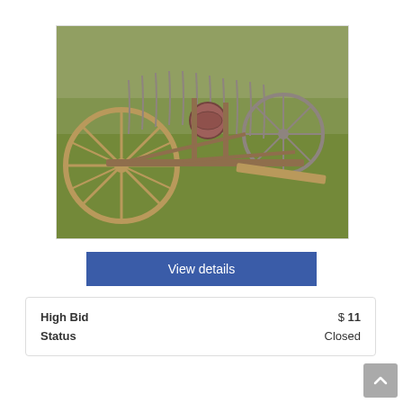[Figure (photo): Outdoor photograph of an antique horse-drawn hay rake / farm implement with large wooden spoke wheels on the left, metal rake tines along the top, a circular seat in the center, and a long tongue/drawbar extending to the right, sitting on a green grass lawn.]
View details
| High Bid | $ 11 |
| Status | Closed |